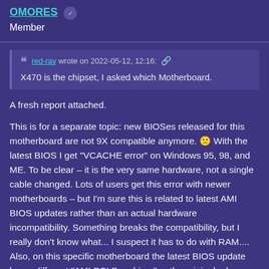OMORES Member
red-ray wrote on 2022-05-12, 12:16: X470 is the chipset, I asked which Motherboard.
A fresh report attached.
This is for a separate topic: new BIOSes released for this motherboard are not 9X compatible anymore. 🙁 With the latest BIOS I get "VCACHE error" on Windows 95, 98, and ME. To be clear – it is the very same hardware, not a single cable changed. Lots of users get this error with newer motherboards – but I'm sure this is related to latest AMI BIOS updates rather than an actual hardware incompatibility. Something breaks the compatibility, but I really don't know what... I suspect it has to do with RAM.... Also, on this specific motherboard the latest BIOS update has a different "AMI PCI Bus driver" ... the original release